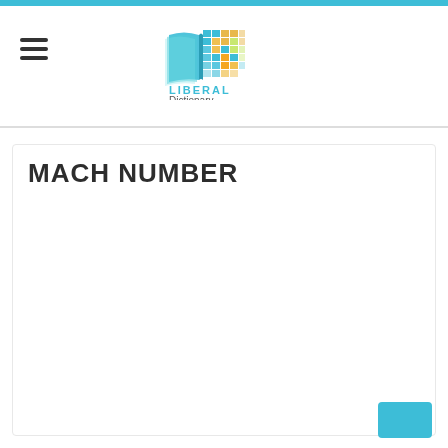[Figure (logo): Liberal Dictionary logo with open book graphic and colorful pixel/grid pattern on the right side. Text reads LIBERAL in teal/cyan uppercase and Dictionary in gray below.]
MACH NUMBER